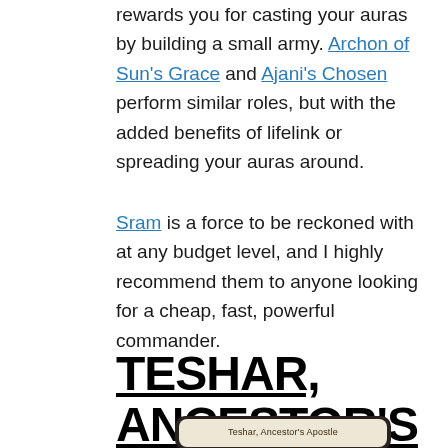rewards you for casting your auras by building a small army. Archon of Sun's Grace and Ajani's Chosen perform similar roles, but with the added benefits of lifelink or spreading your auras around.
Sram is a force to be reckoned with at any budget level, and I highly recommend them to anyone looking for a cheap, fast, powerful commander.
TESHAR, ANCESTOR'S APOSTLE – ARTIFACT/COMBO
[Figure (illustration): Bottom portion of a Magic: The Gathering card showing 'Teshar, Ancestor's Apostle' with a dark border and aged parchment interior]